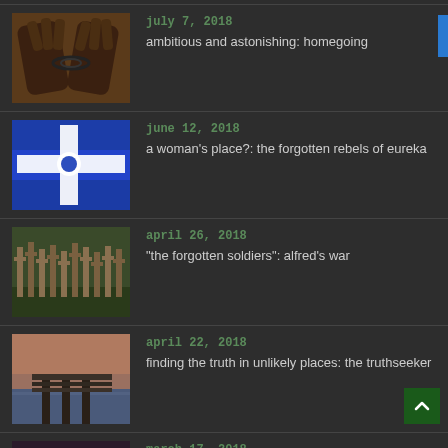july 7, 2018 | ambitious and astonishing: homegoing
june 12, 2018 | a woman's place?: the forgotten rebels of eureka
april 26, 2018 | "the forgotten soldiers": alfred's war
april 22, 2018 | finding the truth in unlikely places: the truthseeker
march 17, 2018 | heart breaking and heart warming: eleanor oliphant is co…
Subscribe to follow my blog